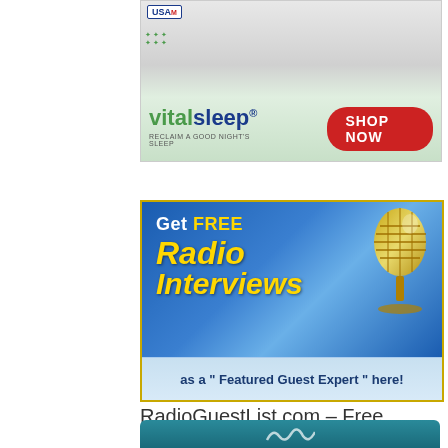[Figure (screenshot): VitalSleep advertisement banner with logo, tagline 'RECLAIM A GOOD NIGHT'S SLEEP', and red 'SHOP NOW' button. USA Today logo visible at top.]
[Figure (screenshot): Radio interview advertisement with blue gradient background and gold microphone image. Text reads 'Get FREE Radio Interviews as a Featured Guest Expert here!' in gold and white text.]
RadioGuestList.com – Free Podcast & Talk Radio Interview Booking Service
[Figure (screenshot): Partial bottom banner with teal/blue background, partially visible.]